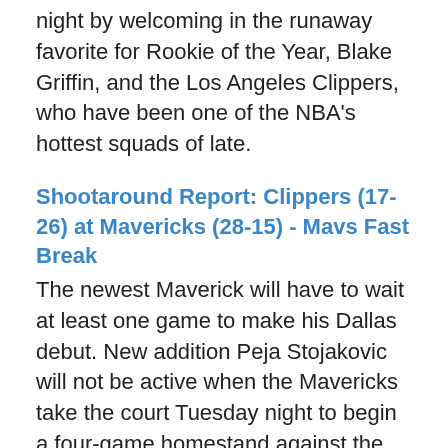night by welcoming in the runaway favorite for Rookie of the Year, Blake Griffin, and the Los Angeles Clippers, who have been one of the NBA's hottest squads of late.
Shootaround Report: Clippers (17-26) at Mavericks (28-15) - Mavs Fast Break
The newest Maverick will have to wait at least one game to make his Dallas debut. New addition Peja Stojakovic will not be active when the Mavericks take the court Tuesday night to begin a four-game homestand against the Los Angeles Clippers.
Mavericks won't face Clippers top scorer Eric Gordon tonight | Dallas Mavericks Blog
Eric Gordon, the No. 8 scorer in the league, is not expected to play for the Clippers tonight against the